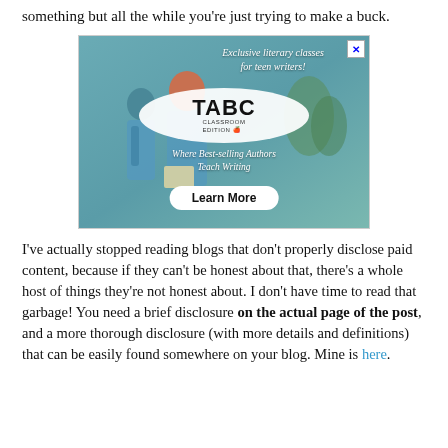something but all the while you're just trying to make a buck.
[Figure (illustration): Advertisement for TABC Classroom Edition — Exclusive literary classes for teen writers. Shows two girls in blue shirts reading a book. Logo with TABC CLASSROOM EDITION text. Tagline: Where Best-selling Authors Teach Writing. Button: Learn More.]
I've actually stopped reading blogs that don't properly disclose paid content, because if they can't be honest about that, there's a whole host of things they're not honest about. I don't have time to read that garbage! You need a brief disclosure on the actual page of the post, and a more thorough disclosure (with more details and definitions) that can be easily found somewhere on your blog. Mine is here.